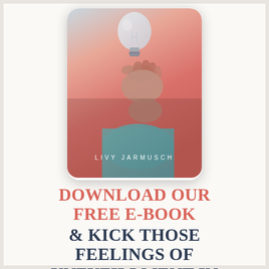[Figure (photo): A hand holding a light bulb upward against a pinkish-red gradient background, displayed inside a smartphone frame. The author name 'LIVY JARMUSCH' appears in white text over the lower portion of the image.]
DOWNLOAD OUR FREE E-BOOK & KICK THOSE FEELINGS OF UNFUFILLMENT IN